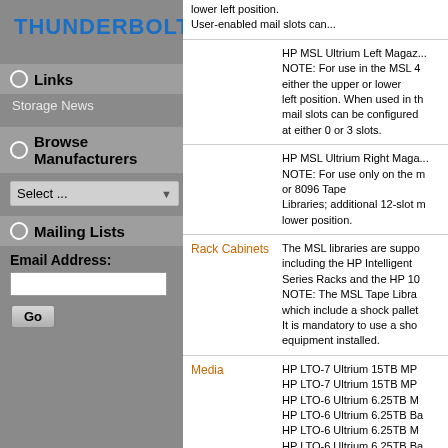[Figure (logo): Thunderbolt logo with lightning bolt icon and blue text]
Links
Storage News
Browse Manufacturers
Select ... (dropdown)
Mailing Lists
Email Address:
Go button
NOTE: For use in the MSL... lower left position. User-enabled mail slots can...
HP MSL Ultrium Left Magaz... NOTE: For use in the MSL 4 either the upper or lower left position. When used in th mail slots can be configured at either 0 or 3 slots.
HP MSL Ultrium Right Maga... NOTE: For use only on the m or 8096 Tape Libraries; additional 12-slot m lower position.
Rack Cabinets
The MSL libraries are suppo including the HP Intelligent Series Racks and the HP 10 NOTE: The MSL Tape Libra which include a shock pallet It is mandatory to use a sho equipment installed.
Media
HP LTO-7 Ultrium 15TB MP
HP LTO-7 Ultrium 15TB MP
HP LTO-6 Ultrium 6.25TB M
HP LTO-6 Ultrium 6.25TB Ba
HP LTO-6 Ultrium 6.25TB M
HP LTO-6 Ultrium 6.25TB Ba
HP LTO-5 Ultrium 3TB RW D
HP LTO-5 Ultrium 3TB WOR
HP LTO-4 Ultrium 1.6TB Re-
HP LTO-4 Ultrium 1.6TB WO